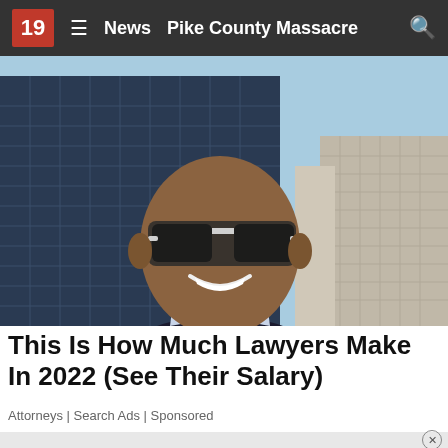19  ≡  News  Pike County Massacre  🔍
[Figure (photo): A smiling man wearing sunglasses and a dark suit jacket with a blue striped dress shirt stands in front of tall city skyscrapers under a light blue sky.]
This Is How Much Lawyers Make In 2022 (See Their Salary)
Attorneys | Search Ads | Sponsored